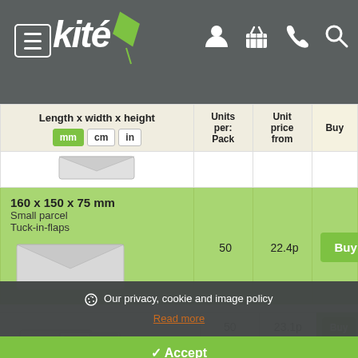[Figure (screenshot): Kite packaging website header with logo, navigation icons (person, basket, phone, search), and green top bar]
| Length x width x height (mm/cm/in) | Units per: Pack | Unit price from | Buy |
| --- | --- | --- | --- |
| 160 x 150 x 75 mm
Small parcel
Tuck-in-flaps | 50 | 22.4p | Buy |
Our privacy, cookie and image policy
Read more
✓ Accept